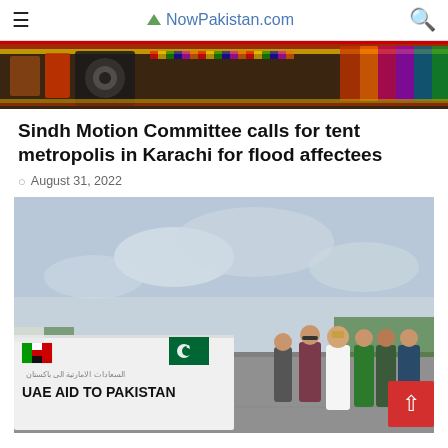NowPakistan.com
[Figure (photo): Decorative truck art strip image at the top of the page]
Sindh Motion Committee calls for tent metropolis in Karachi for flood affectees
August 31, 2022
[Figure (photo): Photo of people standing on a tarmac holding a UAE AID TO PAKISTAN banner, with Arabic text above. Several men in different attire including UAE national dress and Pakistani officials.]